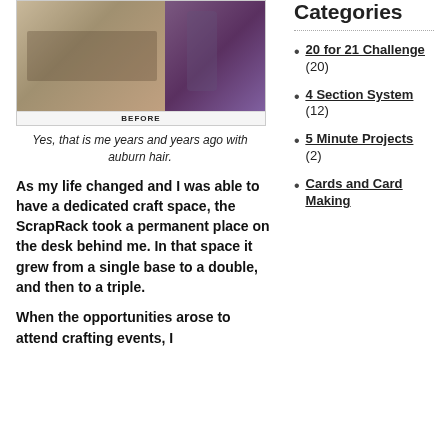[Figure (photo): A before photo showing a crafting workspace area with a BEFORE label]
Yes, that is me years and years ago with auburn hair.
As my life changed and I was able to have a dedicated craft space, the ScrapRack took a permanent place on the desk behind me. In that space it grew from a single base to a double, and then to a triple.
When the opportunities arose to attend crafting events, I
Categories
20 for 21 Challenge (20)
4 Section System (12)
5 Minute Projects (2)
Cards and Card Making